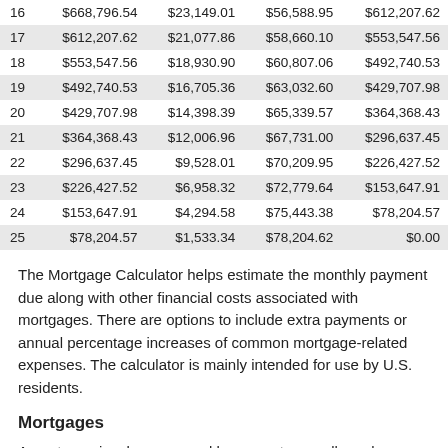|  | Balance | Interest | Principal | End Balance |
| --- | --- | --- | --- | --- |
| 16 | $668,796.54 | $23,149.01 | $56,588.95 | $612,207.62 |
| 17 | $612,207.62 | $21,077.86 | $58,660.10 | $553,547.56 |
| 18 | $553,547.56 | $18,930.90 | $60,807.06 | $492,740.53 |
| 19 | $492,740.53 | $16,705.36 | $63,032.60 | $429,707.98 |
| 20 | $429,707.98 | $14,398.39 | $65,339.57 | $364,368.43 |
| 21 | $364,368.43 | $12,006.96 | $67,731.00 | $296,637.45 |
| 22 | $296,637.45 | $9,528.01 | $70,209.95 | $226,427.52 |
| 23 | $226,427.52 | $6,958.32 | $72,779.64 | $153,647.91 |
| 24 | $153,647.91 | $4,294.58 | $75,443.38 | $78,204.57 |
| 25 | $78,204.57 | $1,533.34 | $78,204.62 | $0.00 |
The Mortgage Calculator helps estimate the monthly payment due along with other financial costs associated with mortgages. There are options to include extra payments or annual percentage increases of common mortgage-related expenses. The calculator is mainly intended for use by U.S. residents.
Mortgages
A mortgage is a loan secured by property, usually real